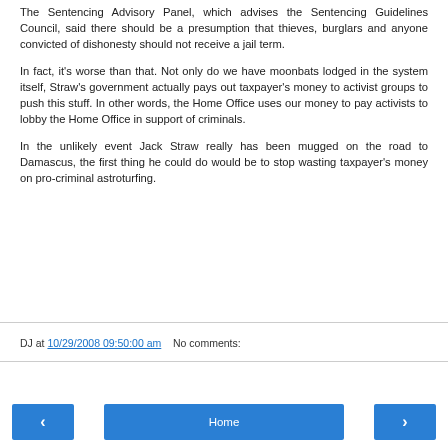The Sentencing Advisory Panel, which advises the Sentencing Guidelines Council, said there should be a presumption that thieves, burglars and anyone convicted of dishonesty should not receive a jail term.
In fact, it's worse than that. Not only do we have moonbats lodged in the system itself, Straw's government actually pays out taxpayer's money to activist groups to push this stuff. In other words, the Home Office uses our money to pay activists to lobby the Home Office in support of criminals.
In the unlikely event Jack Straw really has been mugged on the road to Damascus, the first thing he could do would be to stop wasting taxpayer's money on pro-criminal astroturfing.
DJ at 10/29/2008 09:50:00 am   No comments: